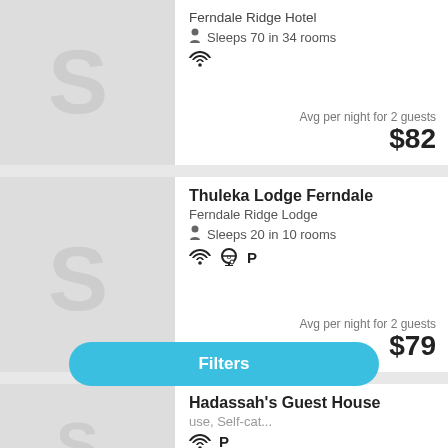Ferndale Ridge Hotel
Sleeps 70 in 34 rooms
Avg per night for 2 guests
$82
Thuleka Lodge Ferndale
Ferndale Ridge Lodge
Sleeps 20 in 10 rooms
Avg per night for 2 guests
$79
Hadassah's Guest House
use, Self-cat...
Filters